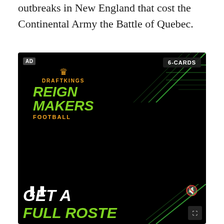outbreaks in New England that cost the Continental Army the Battle of Quebec.
[Figure (screenshot): DraftKings Reign Makers Football advertisement video player. Shows a dark/black background with DraftKings Reign Makers Football logo in top-left (green and orange text), '6-CARDS' badge in top-right, green football field lines graphic in top-right corner, pause button (II) bottom-left, mute button (speaker with X) bottom-right, 'GET A FULL ROSTER' text beginning to appear at bottom in white and green italic bold text.]